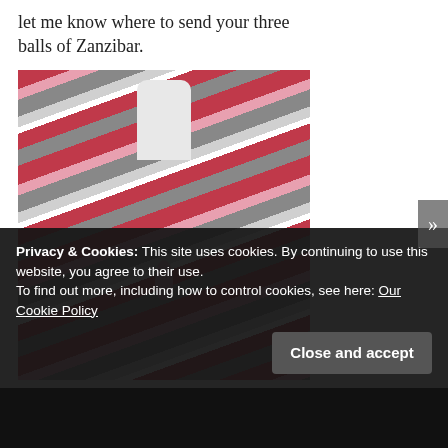let me know where to send your three balls of Zanzibar.
[Figure (photo): A crocheted shawl or wrap in pink, grey, and white stripes displayed on a white mannequin form, with a tassel detail at the center front.]
Privacy & Cookies: This site uses cookies. By continuing to use this website, you agree to their use.
To find out more, including how to control cookies, see here: Our Cookie Policy
Close and accept